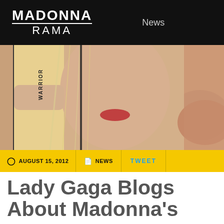MADONNA RAMA
News
[Figure (photo): Close-up photo of a blonde woman (Lady Gaga) with arm raised showing a tattoo with text 'WARRIOR' in stylized lettering, partially blurred image to the right]
☉ AUGUST 15, 2012  |  NEWS  |  TWEET
Lady Gaga Blogs About Madonna's